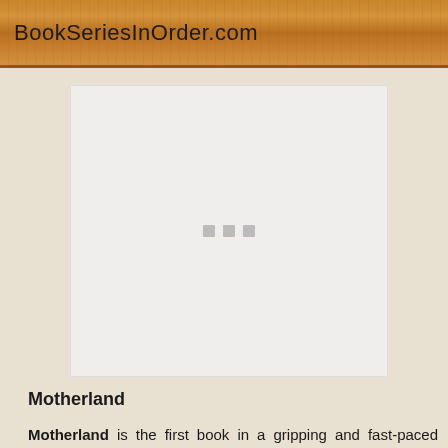BookSeriesInOrder.com
[Figure (other): Book cover image placeholder with three grey loading dots in the center on a light grey/white background]
Motherland
Motherland is the first book in a gripping and fast-paced contemporary crime novel series set in the modern St. Petersburg, Russia. The story features a sharp and intriguing cop, Natalya Ivanova. She has been sidelined, dealing with domestic violence cases until when she's